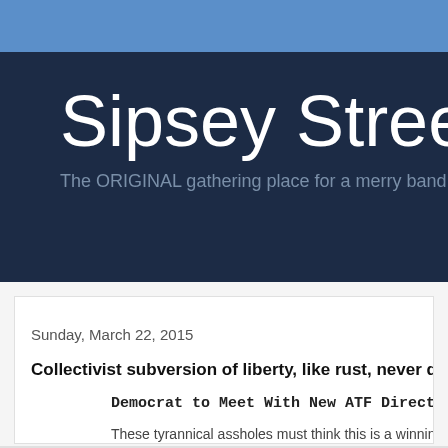Sipsey Street Ir
The ORIGINAL gathering place for a merry band of Thre
Sunday, March 22, 2015
Collectivist subversion of liberty, like rust, never quits.
Democrat to Meet With New ATF Director to Revive AR-15 Amm
These tyrannical assholes must think this is a winning issue for t
Posted by Dutchman6 at 9:12 PM